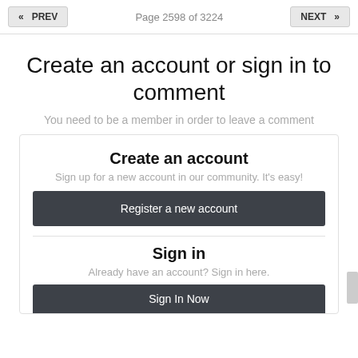« PREV   Page 2598 of 3224   NEXT »
Create an account or sign in to comment
You need to be a member in order to leave a comment
Create an account
Sign up for a new account in our community. It's easy!
Register a new account
Sign in
Already have an account? Sign in here.
Sign In Now